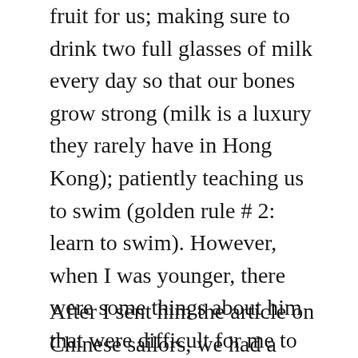fruit for us; making sure to drink two full glasses of milk every day so that our bones grow strong (milk is a luxury they rarely have in Hong Kong); patiently teaching us to swim (golden rule # 2: learn to swim). However, when I was younger, there were some things about him that were difficult for me to understand: his obsession with education, his aversion to waste of any kind, his insistence that we finish every last bit of food on our plates; and his constant reminders not to take anything for granted. It was because he knew what it was like to have nothing.
After I sent him the article on Chinese sailors, we had a long conversation on the phone. He